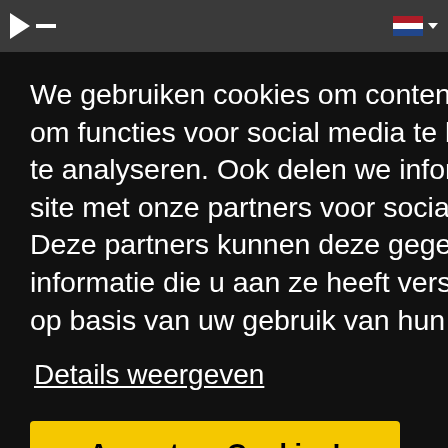[Figure (screenshot): Top navigation bar with logo triangle and Dutch flag icon with dropdown arrow]
We gebruiken cookies om content en advertenties te personaliseren, om functies voor social media te bieden en om ons websiteverkeer te analyseren. Ook delen we informatie over uw gebruik van onze site met onze partners voor social media, adverteren en analyse. Deze partners kunnen deze gegevens combineren met andere informatie die u aan ze heeft verstrekt of die ze hebben verzameld op basis van uw gebruik van hun services.
Details weergeven
Accepteer Cookies!